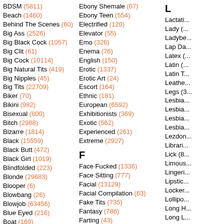BDSM (5811)
Beach (1460)
Behind The Scenes (60)
Big Ass (2526)
Big Black Cock (1057)
Big Clit (61)
Big Cock (10114)
Big Natural Tits (419)
Big Nipples (45)
Big Tits (22709)
Biker (70)
Bikini (982)
Bisexual (800)
Bitch (2988)
Bizarre (1814)
Black (15559)
Black Butt (472)
Black Girl (1019)
Blindfolded (223)
Blonde (29683)
Blooper (6)
Blowbang (26)
Blowjob (63456)
Blue Eyed (216)
Boat (169)
Bombshell (212)
Bondage (3227)
Boobs (38164)
Boots (384)
Booty (2385)
Booty Shake (98)
Boss (698)
Ebony Shemale (67)
Ebony Teen (554)
Electrified (120)
Elevator (55)
Emo (326)
Enema (76)
English (150)
Erotic (1337)
Erotic Art (24)
Escort (164)
Ethnic (181)
European (6592)
Exhibitionists (369)
Exotic (562)
Experienced (261)
Extreme (2927)
F
Face Fucked (1336)
Face Sitting (777)
Facial (13129)
Facial Compilation (63)
Fake Tits (735)
Fantasy (786)
Farting (43)
Fat (2432)
Fat Guy (39)
Fat Mature (30)
Feet (2129)
Female Ejaculation (2496)
Femdom (2895)
Fetish (6650)
FFM (...)
L
Lactati...
Lady (...)
Ladybe...
Lap Da...
Latex (...)
Latin (...)
Latin T...
Leathe...
Legs (3...)
Lesbia...
Lesbia...
Lesbia...
Lesbia...
Lezdon...
Librari...
Lick (8...)
Limous...
Lingeri...
Lipstic...
Locker...
Lollipo...
Long H...
Long L...
Lovers...
Lucky...
M
Machin...
Maid (...)
Malays...